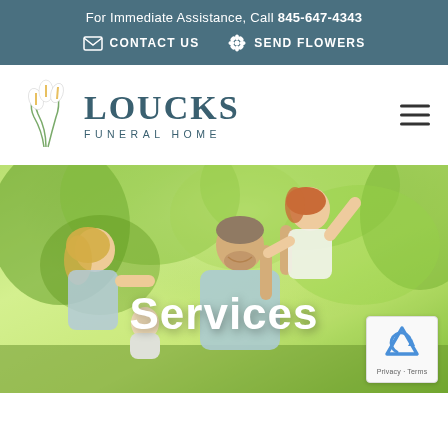For Immediate Assistance, Call 845-647-4343
CONTACT US
SEND FLOWERS
[Figure (logo): Loucks Funeral Home logo with calla lily illustration and text 'LOUCKS FUNERAL HOME']
Services
[Figure (photo): Happy family outdoors in green park setting — father holding young girl with arms raised, mother holding baby, all smiling. 'Services' text overlay centered on image.]
[Figure (other): Google reCAPTCHA badge with Privacy and Terms links]